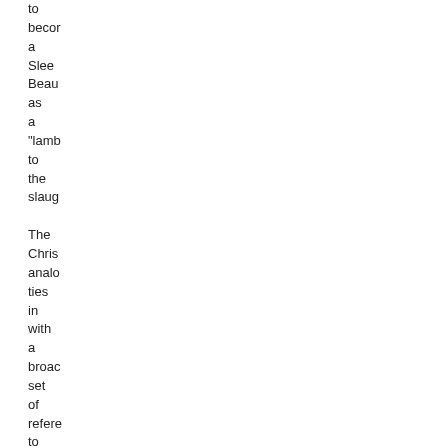to become a Sleeping Beauty as a "lamb to the slaughter The Christian analogies ties in with a broad set of references to Chris